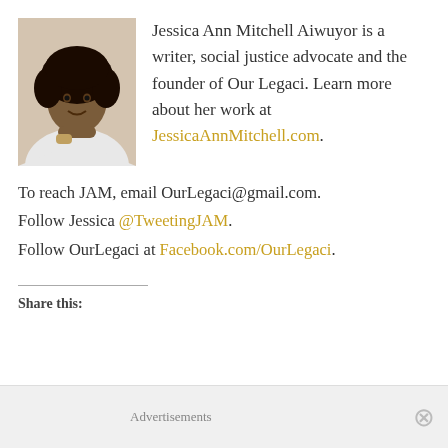[Figure (photo): Headshot photo of Jessica Ann Mitchell Aiwuyor, a Black woman with natural curly hair, wearing a white top, resting her chin on her hand and smiling.]
Jessica Ann Mitchell Aiwuyor is a writer, social justice advocate and the founder of Our Legaci. Learn more about her work at JessicaAnnMitchell.com.
To reach JAM, email OurLegaci@gmail.com. Follow Jessica @TweetingJAM. Follow OurLegaci at Facebook.com/OurLegaci.
Share this:
Advertisements